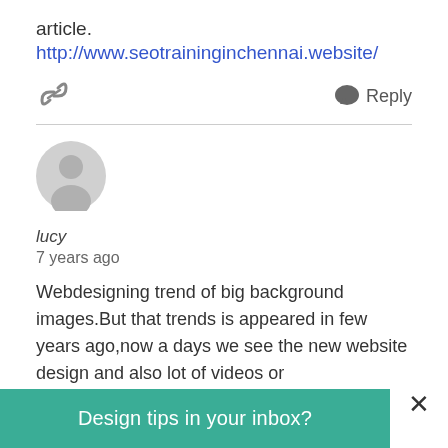article.
http://www.seotraininginchennai.website/
[Figure (other): Link icon and Reply button with speech bubble icon]
lucy
7 years ago
[Figure (other): Default user avatar — grey circle with grey silhouette person shape]
Webdesigning trend of big background images.But that trends is appeared in few years ago,now a days we see the new website design and also lot of videos or
Design tips in your inbox?